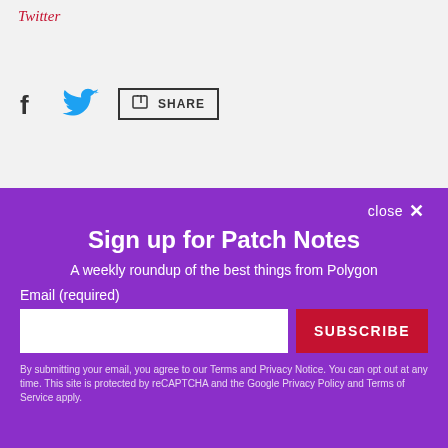Twitter
[Figure (screenshot): Social sharing bar with Facebook icon, Twitter bird icon, and a Share button]
[Figure (photo): Photo of a building exterior with large glass windows and red spherical decorations at the bottom]
close ✕
Sign up for Patch Notes
A weekly roundup of the best things from Polygon
Email (required)
SUBSCRIBE
By submitting your email, you agree to our Terms and Privacy Notice. You can opt out at any time. This site is protected by reCAPTCHA and the Google Privacy Policy and Terms of Service apply.